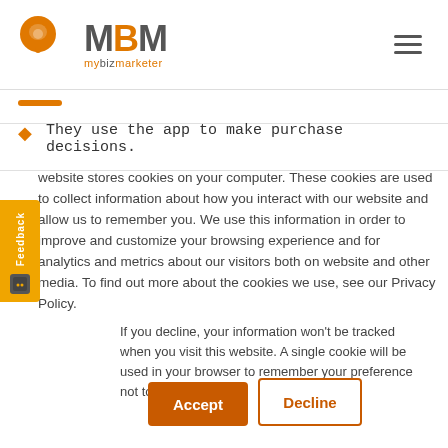[Figure (logo): MBM mybizmarketer logo with orange brain icon]
They use the app to make purchase decisions.
website stores cookies on your computer. These cookies are used to collect information about how you interact with our website and allow us to remember you. We use this information in order to improve and customize your browsing experience and for analytics and metrics about our visitors both on website and other media. To find out more about the cookies we use, see our Privacy Policy.
If you decline, your information won't be tracked when you visit this website. A single cookie will be used in your browser to remember your preference not to be tracked.